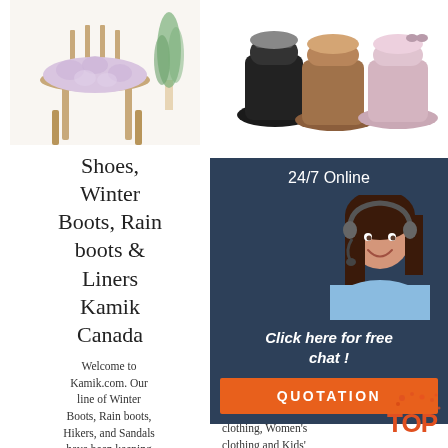[Figure (photo): Fluffy lavender round seat cushion on a wooden chair against a bright background with a potted plant]
[Figure (photo): Three UGG-style ankle boots in black, brown, and pink/mauve colors]
Shoes, Winter Boots, Rain boots & Liners Kamik Canada
L.L. [partially obscured] Out... In... Eve... We...
Welcome to Kamik.com. Our line of Winter Boots, Rain boots, Hikers, and Sandals have been keeping
Dis... comfort and classic styles of our Men's clothing, Women's clothing and Kids' clothing along with L.L.Bean Boots, shoes and slippers
[Figure (infographic): 24/7 Online chat widget with dark navy background, female customer service agent wearing headset, 'Click here for free chat!' text and orange QUOTATION button]
[Figure (logo): TOP badge/logo with red and orange splatter design]